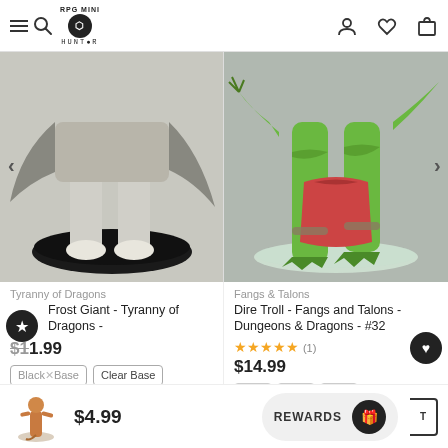RPG Mini Hunter — navigation header with search, logo, user, wishlist, cart icons
[Figure (photo): Frost Giant miniature figurine (lower body/base) on black round base — Tyranny of Dragons]
[Figure (photo): Dire Troll miniature figurine (lower body/base) on clear round base — Fangs & Talons]
Tyranny of Dragons
Frost Giant - Tyranny of Dragons -
$11.99
Black Base  Clear Base
Fangs & Talons
Dire Troll - Fangs and Talons - Dungeons & Dragons - #32
★★★★★ (1)
$14.99
$4.99
REWARDS